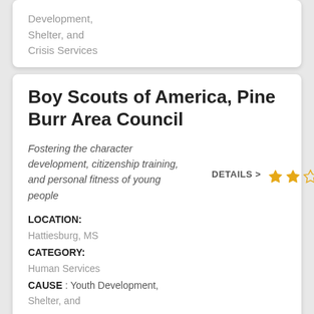Development, Shelter, and Crisis Services
Boy Scouts of America, Pine Burr Area Council
Fostering the character development, citizenship training, and personal fitness of young people
DETAILS >  ★★☆☆
LOCATION: Hattiesburg, MS
CATEGORY: Human Services
CAUSE : Youth Development, Shelter, and